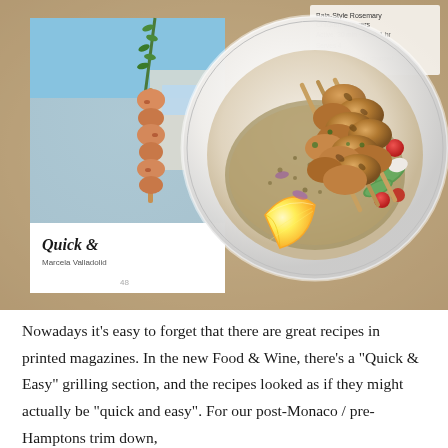[Figure (photo): A white bowl containing grilled chicken skewers on a Greek-style salad with tomatoes, cucumber, and a lemon wedge, placed on a wooden table next to a food magazine open to a 'Quick & Easy' grilling section.]
Nowadays it’s easy to forget that there are great recipes in printed magazines. In the new Food & Wine, there’s a “Quick & Easy” grilling section, and the recipes looked as if they might actually be “quick and easy”. For our post-Monaco / pre-Hamptons trim down,